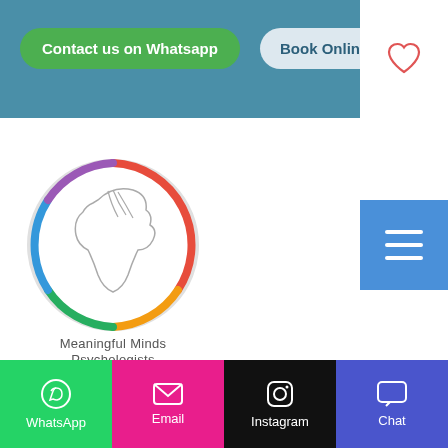[Figure (screenshot): Website header with teal background, green WhatsApp button and blue Book Online Now button]
[Figure (logo): Meaningful Minds Psychologists circular logo with multicolor ring and horse/profile silhouette]
[Figure (screenshot): Dark teal website section with Meaningful Minds Psychologists logo partial, tagline text, Navigation label, scroll-to-top button, and bottom navigation bar with WhatsApp, Email, Instagram, Chat icons]